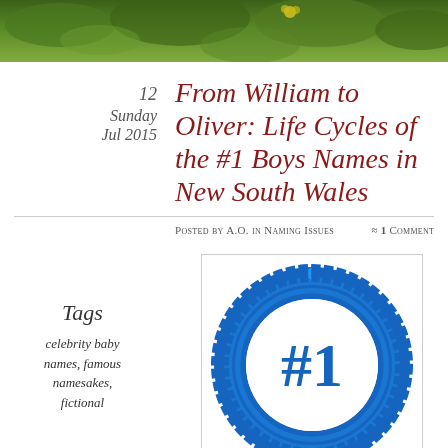[Figure (photo): Green plant/foliage photo banner at top of blog page]
From William to Oliver: Life Cycles of the #1 Boys Names in New South Wales
12 Sunday Jul 2015
Posted by A.O. in Naming Issues ≈ 1 Comment
Tags
celebrity baby names, famous namesakes, fictional
[Figure (illustration): Blue #1 ribbon/rosette badge illustration]